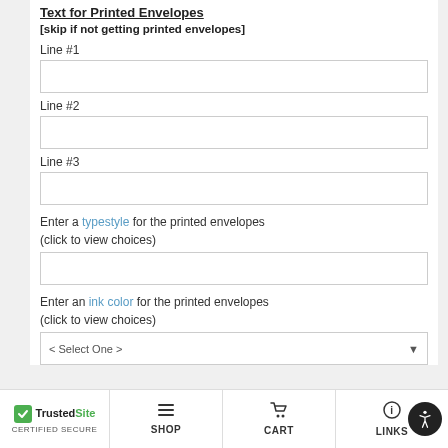Text for Printed Envelopes
[skip if not getting printed envelopes]
Line #1
Line #2
Line #3
Enter a typestyle for the printed envelopes
(click to view choices)
Enter an ink color for the printed envelopes
(click to view choices)
TrustedSite CERTIFIED SECURE | SHOP | CART | LINKS